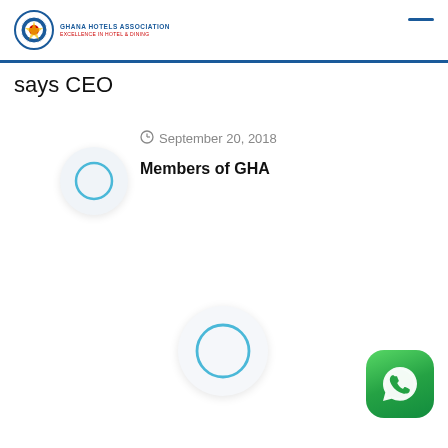Ghana Hotels Association | Members of GHA
says CEO
September 20, 2018
Members of GHA
[Figure (illustration): Circular avatar placeholder (top, small)]
[Figure (illustration): Circular avatar placeholder (bottom center, large)]
[Figure (logo): WhatsApp app icon, green rounded square with phone/chat bubble icon]